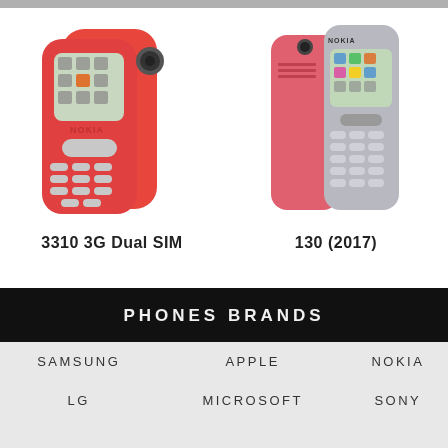[Figure (photo): Nokia 3310 3G Dual SIM phone in red color, front and back view shown]
3310 3G Dual SIM
[Figure (photo): Nokia 130 (2017) phone in red and grey color, front and back view shown]
130 (2017)
PHONES BRANDS
| SAMSUNG | APPLE | NOKIA |
| LG | MICROSOFT | SONY |